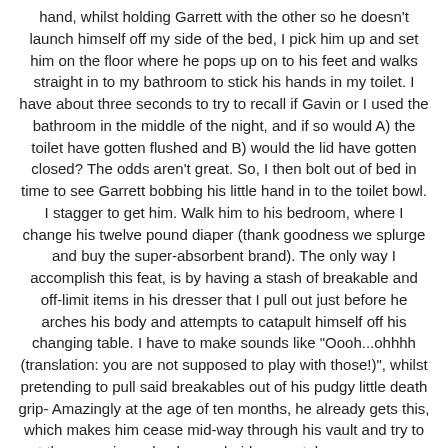hand, whilst holding Garrett with the other so he doesn't launch himself off my side of the bed, I pick him up and set him on the floor where he pops up on to his feet and walks straight in to my bathroom to stick his hands in my toilet. I have about three seconds to try to recall if Gavin or I used the bathroom in the middle of the night, and if so would A) the toilet have gotten flushed and B) would the lid have gotten closed? The odds aren't great. So, I then bolt out of bed in time to see Garrett bobbing his little hand in to the toilet bowl. I stagger to get him. Walk him to his bedroom, where I change his twelve pound diaper (thank goodness we splurge and buy the super-absorbent brand). The only way I accomplish this feat, is by having a stash of breakable and off-limit items in his dresser that I pull out just before he arches his body and attempts to catapult himself off his changing table. I have to make sounds like "Oooh...ohhhh (translation: you are not supposed to play with those!)", whilst pretending to pull said breakables out of his pudgy little death grip- Amazingly at the age of ten months, he already gets this, which makes him cease mid-way through his vault and try to eat the ceramic gecko, hemorrhoid cream tube, or someones 22 old toothbrush. Once we have